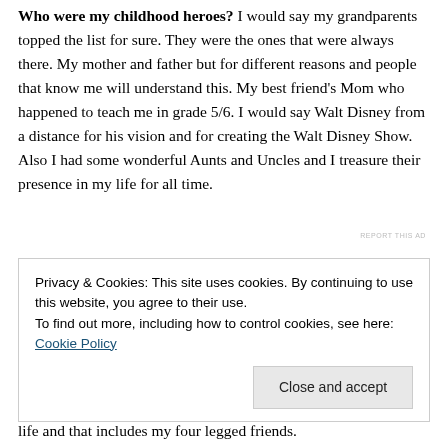Who were my childhood heroes? I would say my grandparents topped the list for sure. They were the ones that were always there. My mother and father but for different reasons and people that know me will understand this. My best friend's Mom who happened to teach me in grade 5/6. I would say Walt Disney from a distance for his vision and for creating the Walt Disney Show. Also I had some wonderful Aunts and Uncles and I treasure their presence in my life for all time.
REPORT THIS AD
Privacy & Cookies: This site uses cookies. By continuing to use this website, you agree to their use.
To find out more, including how to control cookies, see here: Cookie Policy
Close and accept
life and that includes my four legged friends.